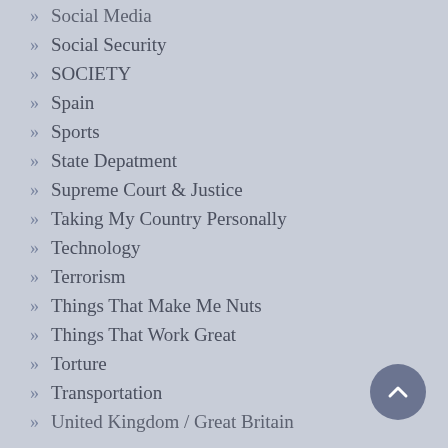Social Media
Social Security
SOCIETY
Spain
Sports
State Depatment
Supreme Court & Justice
Taking My Country Personally
Technology
Terrorism
Things That Make Me Nuts
Things That Work Great
Torture
Transportation
United Kingdom / Great Britain